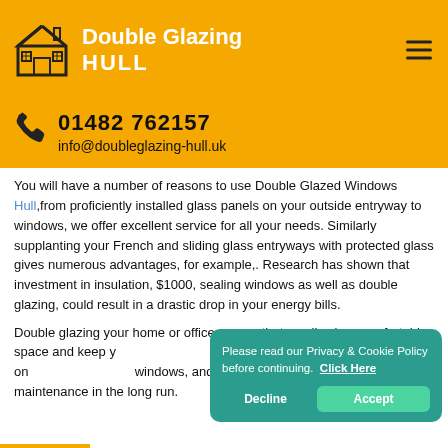Double Glazing HULL
01482 762157
info@doubleglazing-hull.uk
You will have a number of reasons to use Double Glazed Windows Hull,from proficiently installed glass panels on your outside entryway to windows, we offer excellent service for all your needs. Similarly supplanting your French and sliding glass entryways with protected glass gives numerous advantages, for example,. Research has shown that investment in insulation, $1000, sealing windows as well as double glazing, could result in a drastic drop in your energy bills.
Double glazing your home or office ensure that you live in a comfortable space and keep y... output. We pride ourselves on... windows, and our cutting-edg... maintenance in the long run.
Please read our Privacy & Cookie Policy before continuing. Click Here
Decline
Accept